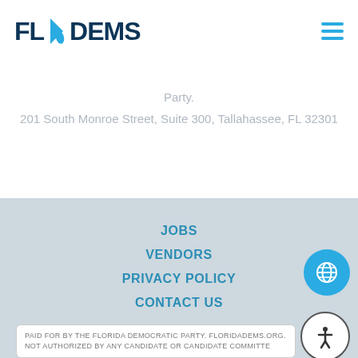[Figure (logo): FL DEMS Florida Democrats logo with blue arrow/state icon between FL and DEMS]
Party.
201 South Monroe Street, Suite 300, Tallahassee, FL 32301
JOBS
VENDORS
PRIVACY POLICY
CONTACT US
PAID FOR BY THE FLORIDA DEMOCRATIC PARTY. FLORIDADEMS.ORG. NOT AUTHORIZED BY ANY CANDIDATE OR CANDIDATE COMMITTE